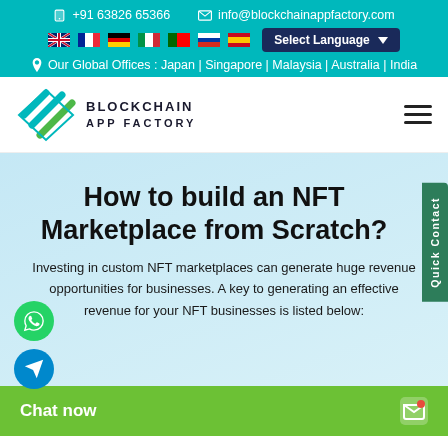📞 +91 63826 65366   ✉ info@blockchainappfactory.com
Select Language | Flag icons: UK, France, Germany, Italy, Portugal, Russia, Spain
📍 Our Global Offices : Japan | Singapore | Malaysia | Australia | India
[Figure (logo): Blockchain App Factory logo with teal chevron/diamond shape and uppercase text BLOCKCHAIN APP FACTORY]
How to build an NFT Marketplace from Scratch?
Investing in custom NFT marketplaces can generate huge revenue opportunities for businesses. A key to generating an effective revenue for your NFT businesses is listed below: